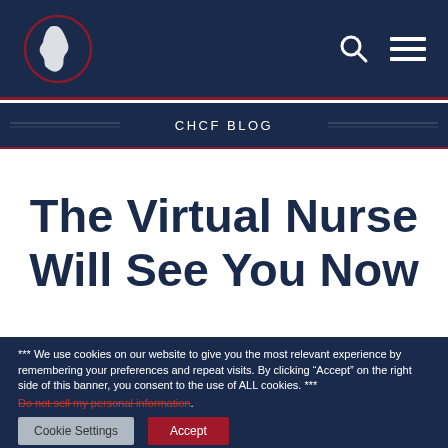[Figure (logo): California state silhouette logo in white/red circle on dark navy background, with search icon and hamburger menu icon]
CHCF BLOG
The Virtual Nurse Will See You Now
*** We use cookies on our website to give you the most relevant experience by remembering your preferences and repeat visits. By clicking “Accept” on the right side of this banner, you consent to the use of ALL cookies. ***
Do not sell my personal information .
Cookie Settings  Accept